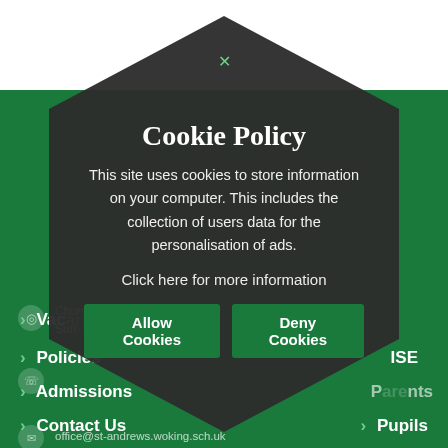[Figure (screenshot): Green school website background with navigation menu items: Vacancies, Policies, Admissions, Contact Us, and partial right column items ISE, Parents, Pupils. Contact info icons for address, phone, email visible.]
Cookie Policy
This site uses cookies to store information on your computer. This includes the collection of users data for the personalisation of ads.
Click here for more information
Allow Cookies
Deny Cookies